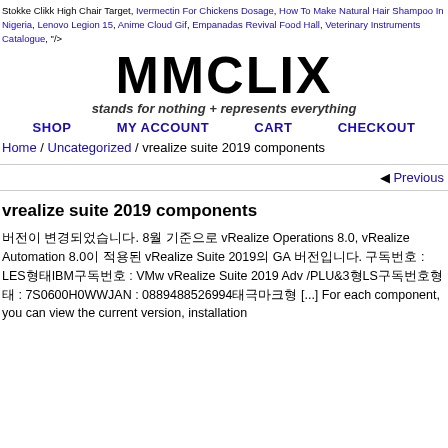Stokke Clikk High Chair Target, Ivermectin For Chickens Dosage, How To Make Natural Hair Shampoo In Nigeria, Lenovo Legion 15, Anime Cloud Gif, Empanadas Revival Food Hall, Veterinary Instruments Catalogue, "/>
[Figure (logo): MMCLIX logo in bold black text with tagline 'stands for nothing + represents everything']
SHOP   MY ACCOUNT   CART   CHECKOUT
Home / Uncategorized / vrealize suite 2019 components
◀ Previous
vrealize suite 2019 components
버전이 변경되었습니다. 8월 기준으로 vRealize Operations 8.0, vRealize Automation 8.0이 적용된 vRealize Suite 2019의 GA 버전입니다. 구독번호 : LES형태IBM구독번호 : VMw vRealize Suite 2019 Adv /PLU&3형LS구독번호형태 : 7S0600H0WWJAN : 0889488526994태극마크형 [...] For each component, you can view the current version, installation